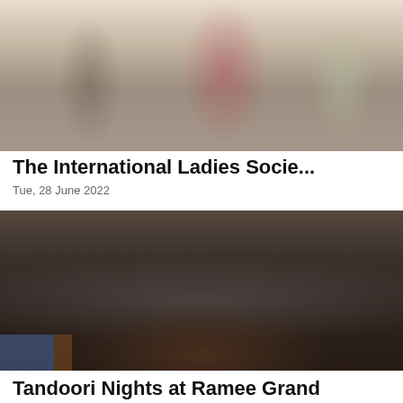[Figure (photo): Group of women standing together at an event, formal/social gathering setting]
The International Ladies Socie...
Tue, 28 June 2022
[Figure (photo): Group of chefs in white uniforms and tall hats posing with a woman and a man in black, restaurant setting with decorative wall]
Tandoori Nights at Ramee Grand